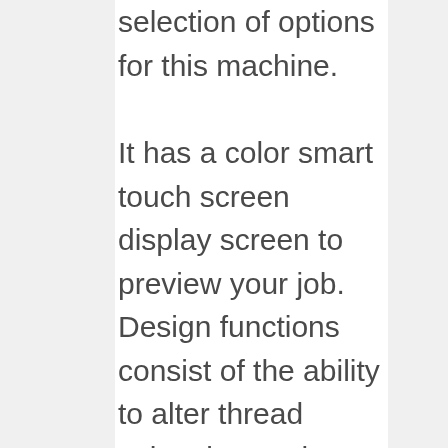Brother web site likewise supplies a huge selection of options for this machine.
It has a color smart touch screen display screen to preview your job. Design functions consist of the ability to alter thread colors in a style, usage specialized letters, monogram therefore much more. There are 103 built-in stitches and 7 quick-change pressure feet.
A brilliant workplace is featured with an automated needle threader and free-motion embroidery is paramount to embroidering, crafts, as well as style. What is neat is the built-in tutorials that can be seen straight on the sewing maker's display. Making individualized garments as well as presents is only the